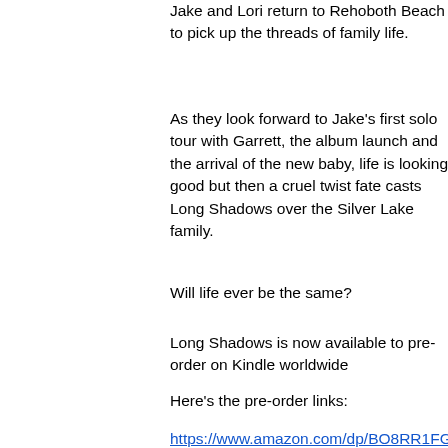Jake and Lori return to Rehoboth Beach to pick up the threads of family life.
As they look forward to Jake's first solo tour with Garrett, the album launch and the arrival of the new baby, life is looking good but then a cruel twist fate casts Long Shadows over the Silver Lake family.
Will life ever be the same?
Long Shadows is now available to pre-order on Kindle worldwide
Here's the pre-order links:
https://www.amazon.com/dp/BO8RR1FGLG
https://www.amazon.co.uk/dp/BO8RR1FG...